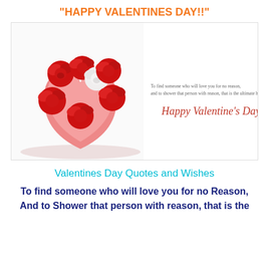“HAPPY VALENTINES DAY!!”
[Figure (photo): A Valentine's Day greeting card image showing a heart-shaped box containing red and white paper roses on the left side, and a quote with 'Happy Valentine's Day' script on the right side]
Valentines Day Quotes and Wishes
To find someone who will love you for no Reason, And to Shower that person with reason, that is the